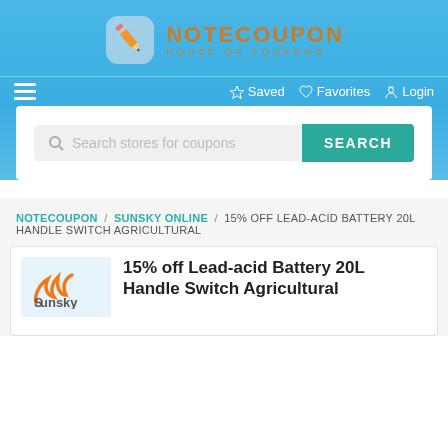[Figure (logo): NoteCoupon logo with pencil icon and text NOTECOUPON HOUSE OF COUPONS]
☆ Saved  ♡ Favorites  ⏻ Login
[Figure (screenshot): Search bar with placeholder 'Search stores for coupons' and a teal SEARCH button]
NOTECOUPON / SUNSKY ONLINE / 15% OFF LEAD-ACID BATTERY 20L HANDLE SWITCH AGRICULTURAL
15% off Lead-acid Battery 20L Handle Switch Agricultural